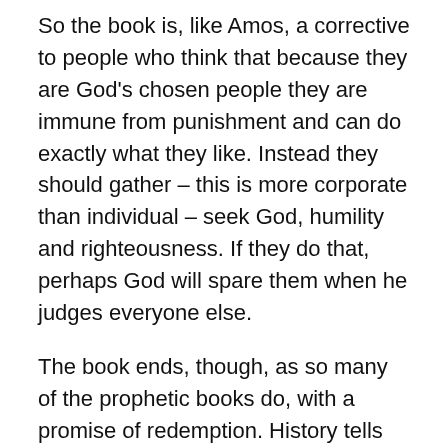So the book is, like Amos, a corrective to people who think that because they are God's chosen people they are immune from punishment and can do exactly what they like. Instead they should gather – this is more corporate than individual – seek God, humility and righteousness. If they do that, perhaps God will spare them when he judges everyone else.
The book ends, though, as so many of the prophetic books do, with a promise of redemption. History tells us that this promise did not prevent exile and punishment, but it did heal it. The language is not of rescue but rather of restoration. Scattered people will be gathered, purified and re-created as a truthful, honest and fearless nation. In the one verse which anyone knows from this book, we have the beautiful picture in 3:17 of God rejoicing and singing with delight over his people. The Mighty Warrior has